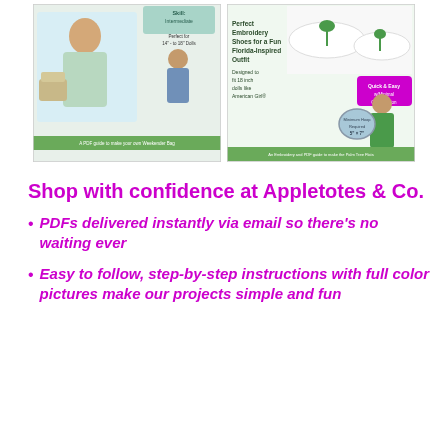[Figure (photo): Two product cover images side by side: left shows doll sewing pattern for a Weekender Bag with doll wearing a dress and holding a silver bag; right shows embroidery and PDF guide for Palm Tree Flats shoes with doll wearing green outfit]
Shop with confidence at Appletotes & Co.
PDFs delivered instantly via email so there's no waiting ever
Easy to follow, step-by-step instructions with full color pictures make our projects simple and fun